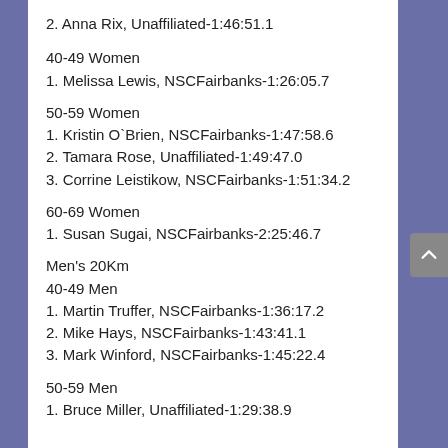2. Anna Rix, Unaffiliated-1:46:51.1
40-49 Women
1. Melissa Lewis, NSCFairbanks-1:26:05.7
50-59 Women
1. Kristin O`Brien, NSCFairbanks-1:47:58.6
2. Tamara Rose, Unaffiliated-1:49:47.0
3. Corrine Leistikow, NSCFairbanks-1:51:34.2
60-69 Women
1. Susan Sugai, NSCFairbanks-2:25:46.7
Men's 20Km
40-49 Men
1. Martin Truffer, NSCFairbanks-1:36:17.2
2. Mike Hays, NSCFairbanks-1:43:41.1
3. Mark Winford, NSCFairbanks-1:45:22.4
50-59 Men
1. Bruce Miller, Unaffiliated-1:29:38.9